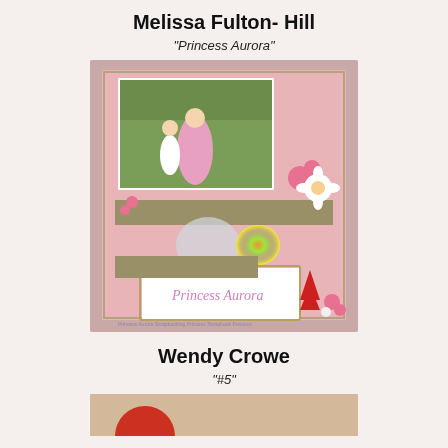Melissa Fulton- Hill
"Princess Aurora"
[Figure (photo): Scrapbook layout page with pink floral background, featuring a photo of a girl with a Princess Aurora character, decorative flowers, a 'Princess Aurora' handwritten card, and ribbon banners.]
Wendy Crowe
"#5"
[Figure (photo): Partial view of another scrapbook layout with a tan/wood-toned background and a partial red circular element.]